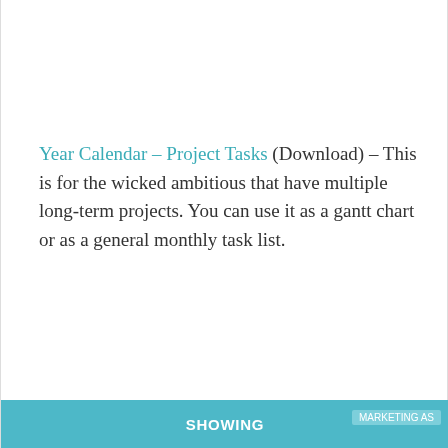Year Calendar – Project Tasks (Download) – This is for the wicked ambitious that have multiple long-term projects. You can use it as a gantt chart or as a general monthly task list.
Privacy & Cookies: This site uses cookies. By continuing to use this website, you agree to their use. To find out more, including how to control cookies, see here: Cookie Policy
Close and accept